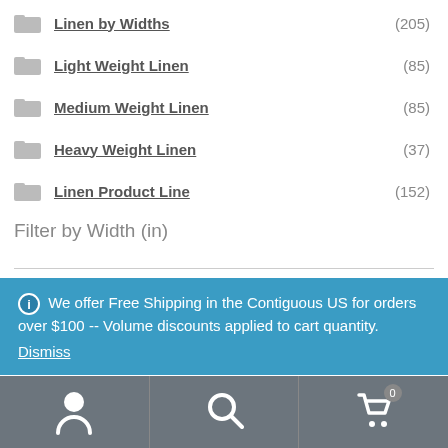Linen by Widths (205)
Light Weight Linen (85)
Medium Weight Linen (85)
Heavy Weight Linen (37)
Linen Product Line (152)
Filter by Width (in)
We offer Free Shipping in the Contiguous US for orders over $100 -- Volume discounts applied to cart quantity. Dismiss